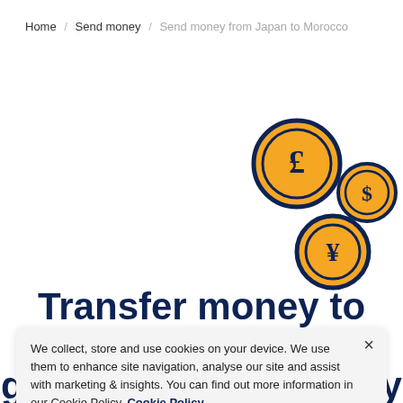Home / Send money / Send money from Japan to Morocco
[Figure (illustration): Three currency coins with dark navy borders and orange fill: a large pound sterling (£) coin top-center-right, a smaller dollar ($) coin to its right, and a yen (¥) coin below-left of the dollar coin. White background.]
Transfer money to
We collect, store and use cookies on your device. We use them to enhance site navigation, analyse our site and assist with marketing & insights. You can find out more information in our Cookie Policy. Cookie Policy
great foreign currency exchange